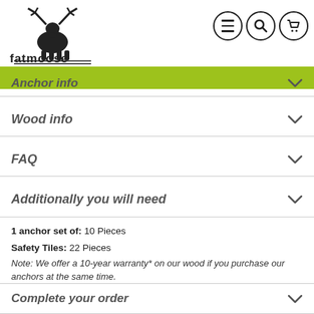[Figure (logo): Fatmoose logo with moose silhouette icon above the word 'fatmoose' in bold lowercase]
[Figure (other): Navigation icons: hamburger menu, search magnifier, shopping cart — each in a circle]
Anchor info
Wood info
FAQ
Additionally you will need
1 anchor set of: 10 Pieces
Safety Tiles: 22 Pieces
Note: We offer a 10-year warranty* on our wood if you purchase our anchors at the same time.
Complete your order